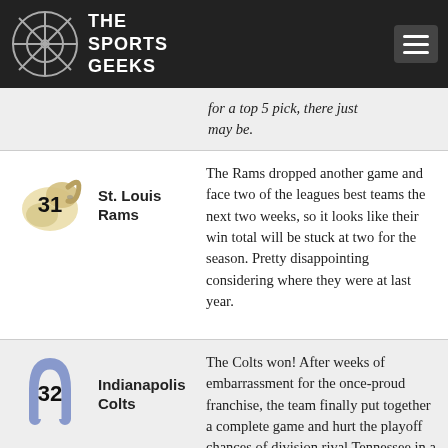The Sports Geeks
for a top 5 pick, there just may be.
[Figure (logo): St. Louis Rams logo with number 31]
St. Louis Rams
The Rams dropped another game and face two of the leagues best teams the next two weeks, so it looks like their win total will be stuck at two for the season. Pretty disappointing considering where they were at last year.
[Figure (logo): Indianapolis Colts logo with number 32]
Indianapolis Colts
The Colts won! After weeks of embarrassment for the once-proud franchise, the team finally put together a complete game and hurt the playoff chances of division rival Tennessee in a 27-13 victory. With a Thursday